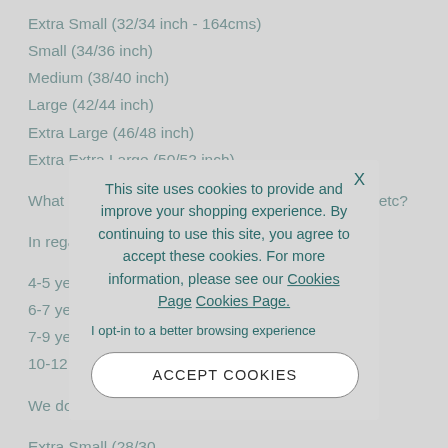Extra Small (32/34 inch - 164cms)
Small (34/36 inch)
Medium (38/40 inch)
Large (42/44 inch)
Extra Large (46/48 inch)
Extra Extra Large (50/52 inch)
What size do I need when ordering trousers/shorts etc?
In regards to trou... for children sizes -
4-5 years - XSY (20...
6-7 years - SY (22/...
7-9 years - MY (24...
10-12 years - LY (26...
We don't usually s... can be seen below
Extra Small (28/30...
Small (30/32 inch)
Medium (32/34 inc...
Large (36/38 inch)
[Figure (screenshot): Cookie consent overlay popup with text: This site uses cookies to provide and improve your shopping experience. By continuing to use this site, you agree to accept these cookies. For more information, please see our Cookies Page Cookies Page. I opt-in to a better browsing experience. Button: ACCEPT COOKIES]